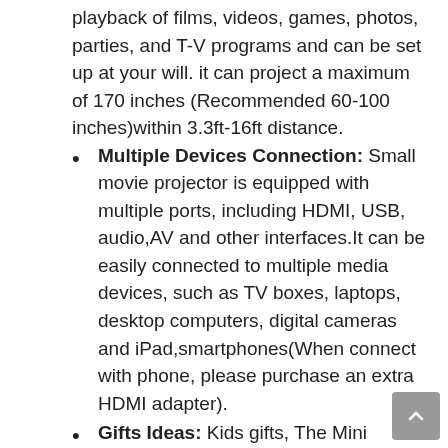playback of films, videos, games, photos, parties, and T-V programs and can be set up at your will. it can project a maximum of 170 inches (Recommended 60-100 inches)within 3.3ft-16ft distance.
Multiple Devices Connection: Small movie projector is equipped with multiple ports, including HDMI, USB, audio,AV and other interfaces.It can be easily connected to multiple media devices, such as TV boxes, laptops, desktop computers, digital cameras and iPad,smartphones(When connect with phone, please purchase an extra HDMI adapter).
Gifts Ideas: Kids gifts, The Mini projector keeping kids away from mobile phones and iPads can protect kids' eyes, which is very popular with kids. Gifts for women & Gifts for men, give your loved one a special viewing experience that belongs to you, to boyfriend gifts